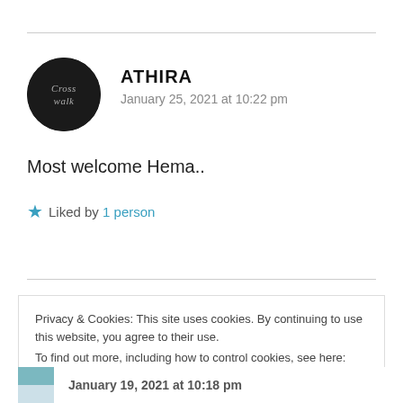[Figure (illustration): Circular black avatar with cursive white text reading 'Crosswalk']
ATHIRA
January 25, 2021 at 10:22 pm
Most welcome Hema..
★ Liked by 1 person
Privacy & Cookies: This site uses cookies. By continuing to use this website, you agree to their use. To find out more, including how to control cookies, see here: Cookie Policy
Close and accept
January 19, 2021 at 10:18 pm